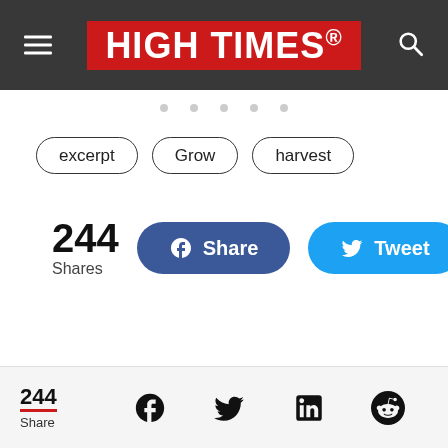HIGH TIMES
excerpt
Grow
harvest
244 Shares
Share | Tweet
244 Share — Facebook, Twitter, LinkedIn, Reddit